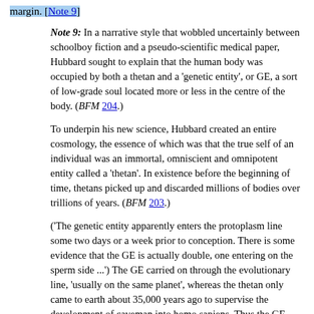margin. [Note 9]
Note 9: In a narrative style that wobbled uncertainly between schoolboy fiction and a pseudo-scientific medical paper, Hubbard sought to explain that the human body was occupied by both a thetan and a 'genetic entity', or GE, a sort of low-grade soul located more or less in the centre of the body. (BFM 204.)
To underpin his new science, Hubbard created an entire cosmology, the essence of which was that the true self of an individual was an immortal, omniscient and omnipotent entity called a 'thetan'. In existence before the beginning of time, thetans picked up and discarded millions of bodies over trillions of years. (BFM 203.)
('The genetic entity apparently enters the protoplasm line some two days or a week prior to conception. There is some evidence that the GE is actually double, one entering on the sperm side ...') The GE carried on through the evolutionary line, 'usually on the same planet', whereas the thetan only came to earth about 35,000 years ago to supervise the development of caveman into homo sapiens. Thus the GE was once 'an anthropoid in the deep forests of forgotten continents or a mollusc seeking to survive on the shore of some lost sea'. The discovery of the GE (Hubbard hailed every fanciful new idea as a 'discovery') 'makes it possible at last to vindicate the theory of evolution proposed by Darwin'.
Much of the book was devoted to a re-working of evolution,